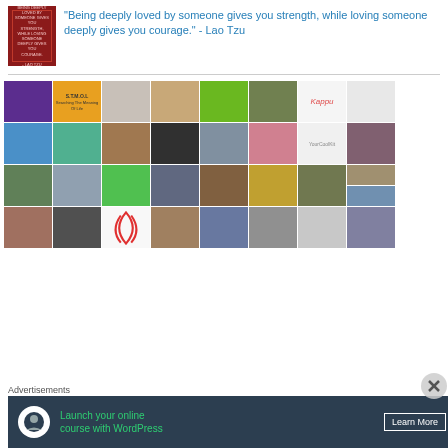[Figure (photo): Red book cover with white text]
"Being deeply loved by someone gives you strength, while loving someone deeply gives you courage." - Lao Tzu
[Figure (photo): Grid of profile photos, logos, and pattern images arranged in rows]
Advertisements
[Figure (infographic): Dark banner ad: Launch your online course with WordPress — Learn More]